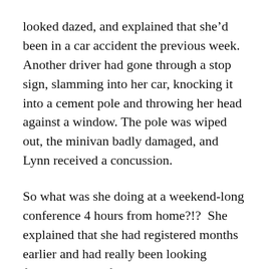looked dazed, and explained that she'd been in a car accident the previous week.  Another driver had gone through a stop sign, slamming into her car, knocking it into a cement pole and throwing her head against a window. The pole was wiped out, the minivan badly damaged, and Lynn received a concussion.
So what was she doing at a weekend-long conference 4 hours from home?!?  She explained that she had registered months earlier and had really been looking forward to it.  After the accident, as the owner, leader and trainer of a busy Pampered Chef business and mother of two young children, she knew she'd get more rest staying at a hotel than she would at home! Indeed, she had slept for most of the day and left her